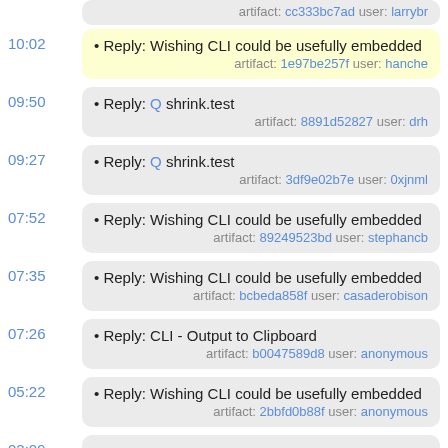artifact: cc333bc7ad user: larrybr
• Reply: Wishing CLI could be usefully embedded
artifact: 1e97be257f user: hanche
time: 10:02
• Reply: Q shrink.test
artifact: 8891d52827 user: drh
time: 09:50
• Reply: Q shrink.test
artifact: 3df9e02b7e user: 0xjnml
time: 09:27
• Reply: Wishing CLI could be usefully embedded
artifact: 89249523bd user: stephancb
time: 07:52
• Reply: Wishing CLI could be usefully embedded
artifact: bcbeda858f user: casaderobison
time: 07:35
• Reply: CLI - Output to Clipboard
artifact: b0047589d8 user: anonymous
time: 07:26
• Reply: Wishing CLI could be usefully embedded
artifact: 2bbfd0b88f user: anonymous
time: 05:22
02:09